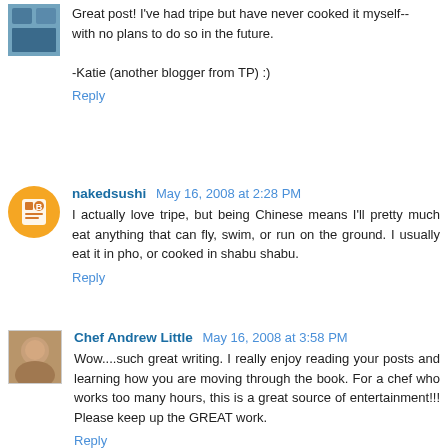Great post! I've had tripe but have never cooked it myself-- with no plans to do so in the future.

-Katie (another blogger from TP) :)
Reply
nakedsushi May 16, 2008 at 2:28 PM
I actually love tripe, but being Chinese means I'll pretty much eat anything that can fly, swim, or run on the ground. I usually eat it in pho, or cooked in shabu shabu.
Reply
Chef Andrew Little May 16, 2008 at 3:58 PM
Wow....such great writing. I really enjoy reading your posts and learning how you are moving through the book. For a chef who works too many hours, this is a great source of entertainment!!! Please keep up the GREAT work.
Reply